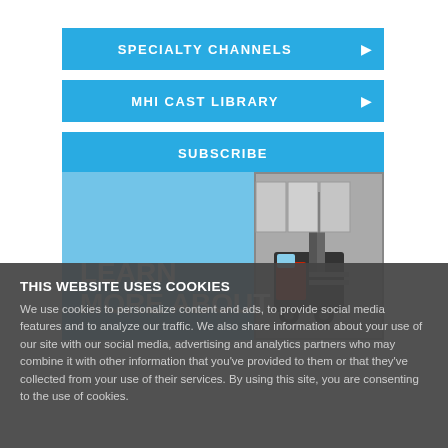SPECIALTY CHANNELS ▶
MHI CAST LIBRARY ▶
SUBSCRIBE
[Figure (photo): Banner image showing a forklift/warehouse equipment with text 'LEARN MORE ABOUT' overlaid on a blue background]
THIS WEBSITE USES COOKIES
We use cookies to personalize content and ads, to provide social media features and to analyze our traffic. We also share information about your use of our site with our social media, advertising and analytics partners who may combine it with other information that you've provided to them or that they've collected from your use of their services. By using this site, you are consenting to the use of cookies.